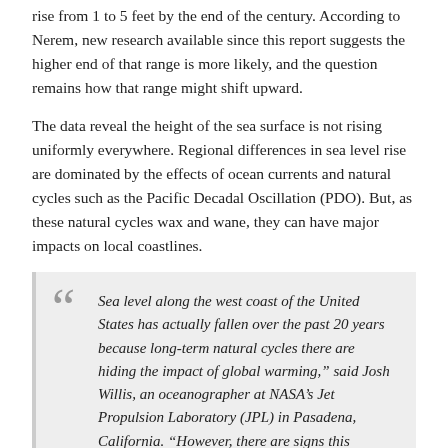rise from 1 to 5 feet by the end of the century. According to Nerem, new research available since this report suggests the higher end of that range is more likely, and the question remains how that range might shift upward.
The data reveal the height of the sea surface is not rising uniformly everywhere. Regional differences in sea level rise are dominated by the effects of ocean currents and natural cycles such as the Pacific Decadal Oscillation (PDO). But, as these natural cycles wax and wane, they can have major impacts on local coastlines.
“Sea level along the west coast of the United States has actually fallen over the past 20 years because long-term natural cycles there are hiding the impact of global warming,” said Josh Willis, an oceanographer at NASA’s Jet Propulsion Laboratory (JPL) in Pasadena, California. “However, there are signs this pattern is changing. We can expect accelerated rates of sea level rise along this coast over the next decade as the region recovers from its temporary sea level ‘deficit.’”